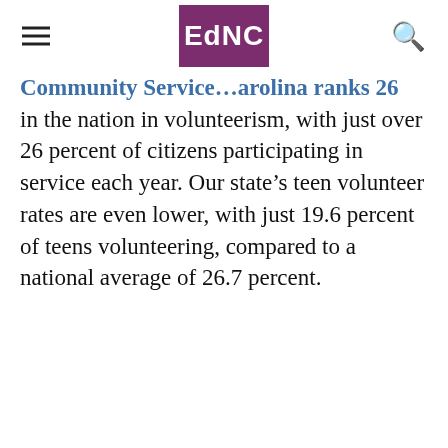EdNC
Community Service ... Carolina ranks 26 in the nation in volunteerism, with just over 26 percent of citizens participating in service each year. Our state's teen volunteer rates are even lower, with just 19.6 percent of teens volunteering, compared to a national average of 26.7 percent.